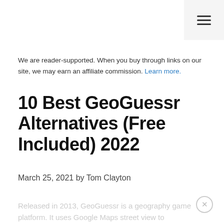≡
We are reader-supported. When you buy through links on our site, we may earn an affiliate commission. Learn more.
10 Best GeoGuessr Alternatives (Free Included) 2022
March 25, 2021 by Tom Clayton
Released in 2013, GeoGuessr is a geography game platform. It uses Google Maps street view to